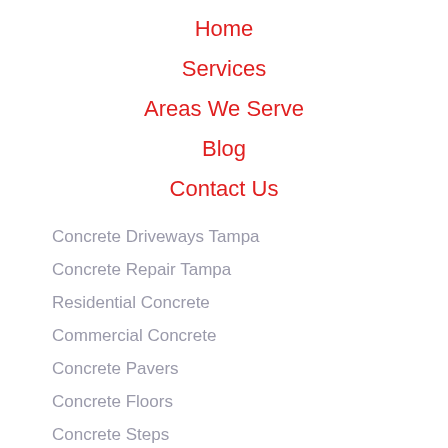Home
Services
Areas We Serve
Blog
Contact Us
Concrete Driveways Tampa
Concrete Repair Tampa
Residential Concrete
Commercial Concrete
Concrete Pavers
Concrete Floors
Concrete Steps
Stained Concrete